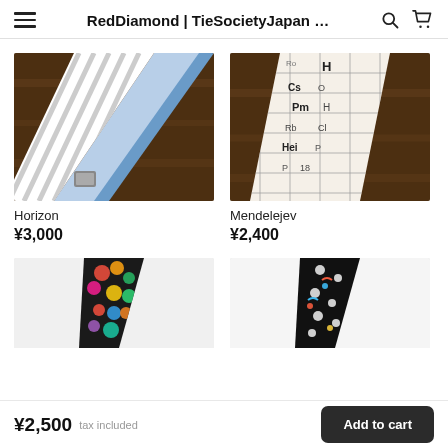RedDiamond | TieSocietyJapan …
[Figure (photo): Photo of a light blue and striped necktie laid on a dark wooden surface, showing both sides of the tie.]
Horizon
¥3,000
[Figure (photo): Photo of a white necktie with periodic table of elements print, laid on a dark wooden surface.]
Mendelejev
¥2,400
[Figure (photo): Partial photo of a necktie with colorful circular pattern on black background.]
[Figure (photo): Partial photo of a necktie with colorful floral/polka dot pattern on black background.]
¥2,500 tax included  Add to cart